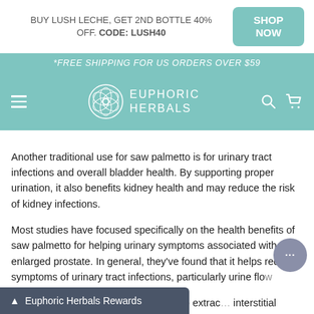BUY LUSH LECHE, GET 2ND BOTTLE 40% OFF. CODE: LUSH40
SHOP NOW
*FREE SHIPPING FOR US ORDERS OVER $59
EUPHORIC HERBALS
Another traditional use for saw palmetto is for urinary tract infections and overall bladder health. By supporting proper urination, it also benefits kidney health and may reduce the risk of kidney infections.
Most studies have focused specifically on the health benefits of saw palmetto for helping urinary symptoms associated with an enlarged prostate. In general, they've found that it helps reduce symptoms of urinary tract infections, particularly urine flow
One study also found that saw palmetto extrac interstitial cystitis (a